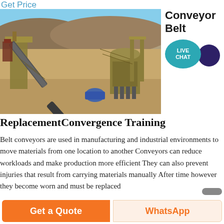Get Price
[Figure (photo): Aerial/elevated view of an industrial mining or quarrying site with yellow conveyor belt structures, a cone crusher, and various heavy machinery on dry terrain.]
Conveyor Belt
[Figure (infographic): Live Chat speech bubble icon — teal circular bubble with 'LIVE CHAT' text and a dark purple overlapping circle.]
ReplacementConvergence Training
Belt conveyors are used in manufacturing and industrial environments to move materials from one location to another Conveyors can reduce workloads and make production more efficient They can also prevent injuries that result from carrying materials manually After time however they become worn and must be replaced
Get a Quote
WhatsApp